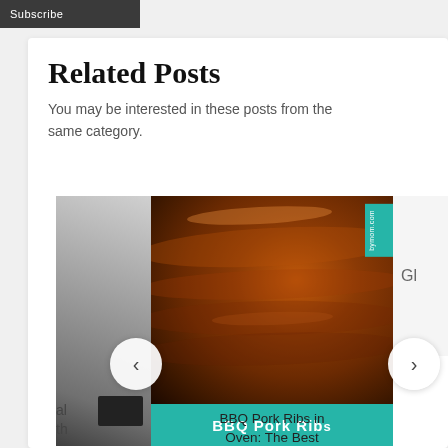Subscribe
Related Posts
You may be interested in these posts from the same category.
[Figure (photo): Close-up photo of BBQ Pork Ribs with a teal label overlay at bottom reading 'BBQ Pork Ribs' and a teal tag on the right side reading 'bymom.com'. Partial images of other posts visible on left and right sides.]
BBQ Pork Ribs in Oven: The Best